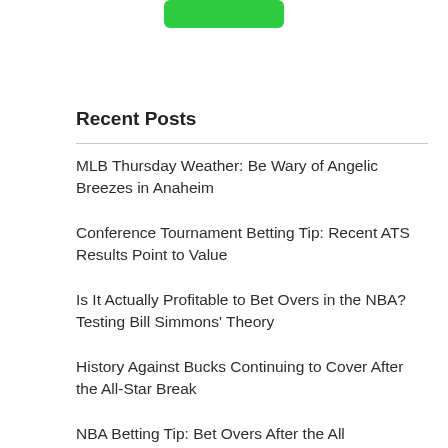[Figure (other): Green button/badge at top center of page]
Recent Posts
MLB Thursday Weather: Be Wary of Angelic Breezes in Anaheim
Conference Tournament Betting Tip: Recent ATS Results Point to Value
Is It Actually Profitable to Bet Overs in the NBA? Testing Bill Simmons' Theory
History Against Bucks Continuing to Cover After the All-Star Break
NBA Betting Tip: Bet Overs After the All